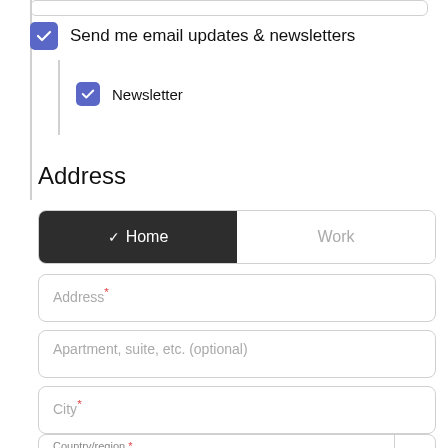Send me email updates & newsletters
Newsletter
Address
Home / Work toggle
Address*
Apartment, suite, etc. (optional)
City*
Country/region * USA